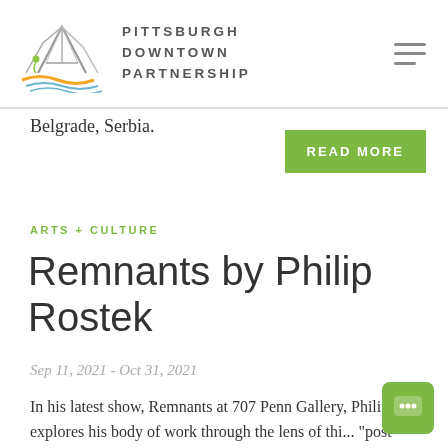Pittsburgh Downtown Partnership
Belgrade, Serbia.
READ MORE
ARTS + CULTURE
Remnants by Philip Rostek
Sep 11, 2021 - Oct 31, 2021
In his latest show, Remnants at 707 Penn Gallery, Philip explores his body of work through the lens of the "post-medical miracle," which deepened his belief that the relationship between art and life is best understood...